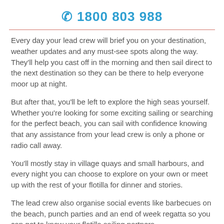📞 1800 803 988
Every day your lead crew will brief you on your destination, weather updates and any must-see spots along the way. They'll help you cast off in the morning and then sail direct to the next destination so they can be there to help everyone moor up at night.
But after that, you'll be left to explore the high seas yourself. Whether you're looking for some exciting sailing or searching for the perfect beach, you can sail with confidence knowing that any assistance from your lead crew is only a phone or radio call away.
You'll mostly stay in village quays and small harbours, and every night you can choose to explore on your own or meet up with the rest of your flotilla for dinner and stories.
The lead crew also organise social events like barbecues on the beach, punch parties and an end of week regatta so you can get to know your flotilla sailing partners.